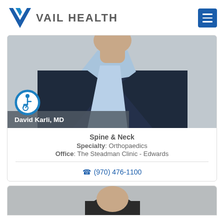VAIL HEALTH
[Figure (photo): Portrait photo of David Karli MD in dark suit with light blue shirt]
David Karli, MD
Spine & Neck
Specialty: Orthopaedics
Office: The Steadman Clinic - Edwards
(970) 476-1100
[Figure (photo): Partial photo of a second physician, visible at bottom of page]